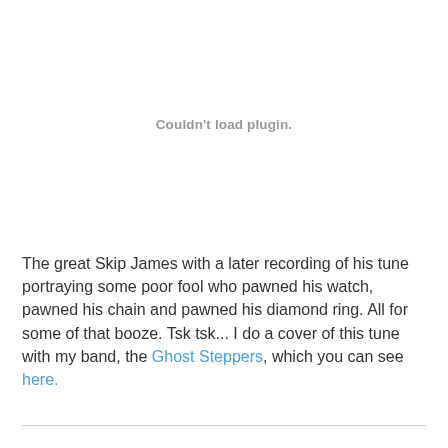[Figure (other): Plugin placeholder area showing 'Couldn't load plugin.' message in gray text]
The great Skip James with a later recording of his tune portraying some poor fool who pawned his watch, pawned his chain and pawned his diamond ring. All for some of that booze. Tsk tsk... I do a cover of this tune with my band, the Ghost Steppers, which you can see here.